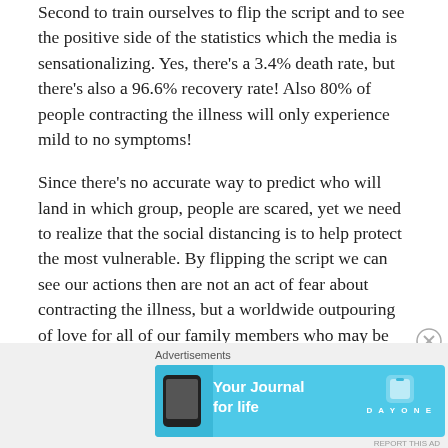Second to train ourselves to flip the script and to see the positive side of the statistics which the media is sensationalizing. Yes, there's a 3.4% death rate, but there's also a 96.6% recovery rate! Also 80% of people contracting the illness will only experience mild to no symptoms!
Since there's no accurate way to predict who will land in which group, people are scared, yet we need to realize that the social distancing is to help protect the most vulnerable. By flipping the script we can see our actions then are not an act of fear about contracting the illness, but a worldwide outpouring of love for all of our family members who may be more vulnerable!!
[Figure (other): Advertisement banner for 'Day One: Your Journal for life' app, shown in light blue with phone image on left and DayOne logo on right]